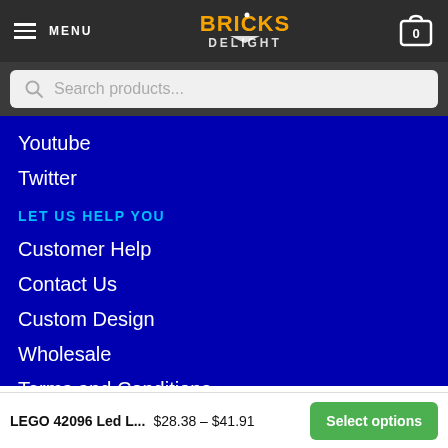MENU | BRICKS DELIGHT | 0
Search products...
Youtube
Twitter
LET US HELP YOU
Customer Help
Contact Us
Custom Design
Wholesale
Terms and Conditions
LEGO 42096 Led L... $28.38 – $41.91 Select options